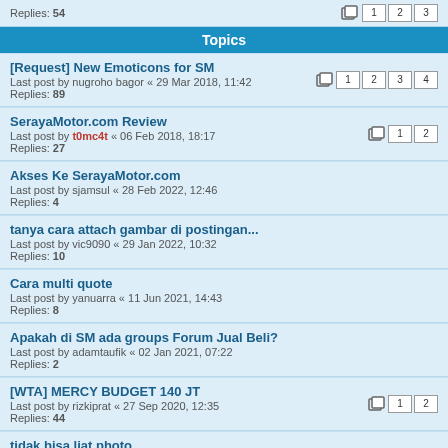Replies: 54
Topics
[Request] New Emoticons for SM
Last post by nugroho bagor « 29 Mar 2018, 11:42
Replies: 89
SerayaMotor.com Review
Last post by t0mc4t « 06 Feb 2018, 18:17
Replies: 27
Akses Ke SerayaMotor.com
Last post by sjamsul « 28 Feb 2022, 12:46
Replies: 4
tanya cara attach gambar di postingan...
Last post by vic9090 « 29 Jan 2022, 10:32
Replies: 10
Cara multi quote
Last post by yanuarra « 11 Jun 2021, 14:43
Replies: 8
Apakah di SM ada groups Forum Jual Beli?
Last post by adamtaufik « 02 Jan 2021, 07:22
Replies: 2
[WTA] MERCY BUDGET 140 JT
Last post by rizkiprat « 27 Sep 2020, 12:35
Replies: 44
tidak bisa liat photo